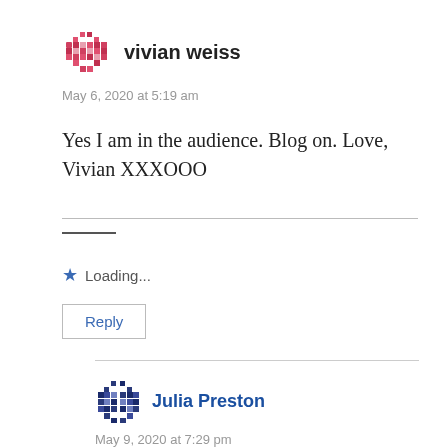vivian weiss
May 6, 2020 at 5:19 am
Yes I am in the audience. Blog on. Love, Vivian XXXOOO
Loading...
Reply
Julia Preston
May 9, 2020 at 7:29 pm